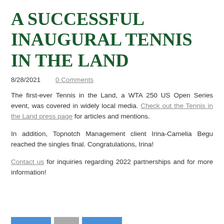A SUCCESSFUL INAUGURAL TENNIS IN THE LAND
8/28/2021    0 Comments
The first-ever Tennis in the Land, a WTA 250 US Open Series event, was covered in widely local media. Check out the Tennis in the Land press page for articles and mentions.
In addition, Topnotch Management client Irina-Camelia Begu reached the singles final. Congratulations, Irina!
Contact us for inquiries regarding 2022 partnerships and for more information!